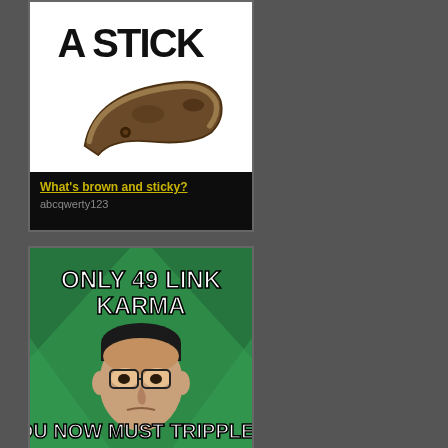[Figure (illustration): Meme image: white background with text 'A STICK' at top in bold, with a curved brown stick/branch below it]
What's brown and sticky?
abcqwerty123
[Figure (illustration): Meme image: green background with an Asian man's face, text at top reads 'ONLY 49 LINK KARMA', text at bottom reads 'YOU NOW MUST TRIPPLE IT']